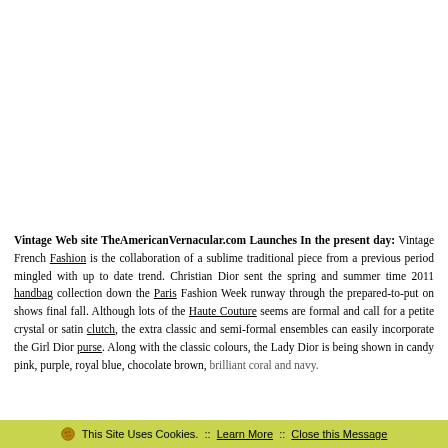Vintage Web site TheAmericanVernacular.com Launches In the present day:
Vintage French Fashion is the collaboration of a sublime traditional piece from a previous period mingled with up to date trend. Christian Dior sent the spring and summer time 2011 handbag collection down the Paris Fashion Week runway through the prepared-to-put on shows final fall. Although lots of the Haute Couture seems are formal and call for a petite crystal or satin clutch, the extra classic and semi-formal ensembles can easily incorporate the Girl Dior purse. Along with the classic colours, the Lady Dior is being shown in candy pink, purple, royal blue, chocolate brown, brilliant coral and navy.
This Site Uses Cookies.  ::  Learn More  ::  Close this Message